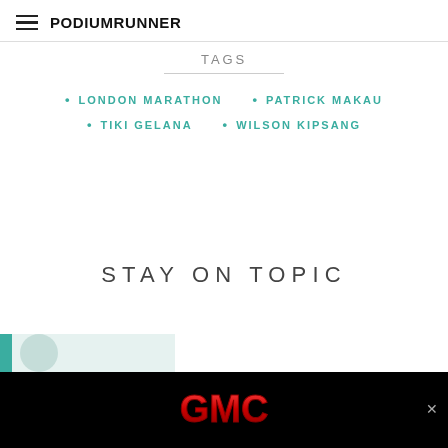PodiumRunner
TAGS
LONDON MARATHON
PATRICK MAKAU
TIKI GELANA
WILSON KIPSANG
STAY ON TOPIC
[Figure (other): GMC advertisement banner at the bottom of the page]